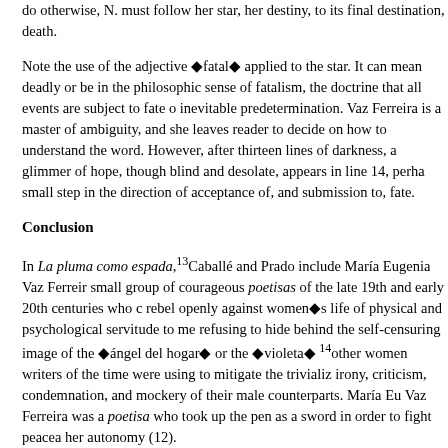do otherwise, N. must follow her star, her destiny, to its final destination, death.
Note the use of the adjective ◆fatal◆ applied to the star. It can mean deadly or be in the philosophic sense of fatalism, the doctrine that all events are subject to fate or inevitable predetermination. Vaz Ferreira is a master of ambiguity, and she leaves the reader to decide on how to understand the word. However, after thirteen lines of darkness, a glimmer of hope, though blind and desolate, appears in line 14, perhaps a small step in the direction of acceptance of, and submission to, fate.
Conclusion
In La pluma como espada,¹³Caballé and Prado include María Eugenia Vaz Ferreira in a small group of courageous poetisas of the late 19th and early 20th centuries who chose to rebel openly against women◆s life of physical and psychological servitude to men, refusing to hide behind the self-censuring image of the ◆ángel del hogar◆ or the ◆violeta◆ ¹⁴other women writers of the time were using to mitigate the trivialization, irony, criticism, condemnation, and mockery of their male counterparts. María Eugenia Vaz Ferreira was a poetisa who took up the pen as a sword in order to fight peacefully for her autonomy (12).
Just before she died in 1924, María Eugenia had at last collected the poems she wished to include in La isla de los cánticos, published posthumously. It is no coincidence that she chose ◆Enmudecer◆¹⁵ as the final poem in the book. ◆Enmudecer◆ is Vaz Ferreira◆s renunciation of ◆ as opposed to resignation to ◆ an insensitive world.